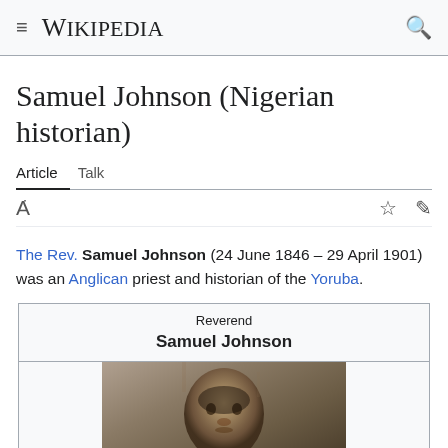WIKIPEDIA
Samuel Johnson (Nigerian historian)
Article   Talk
The Rev. Samuel Johnson (24 June 1846 – 29 April 1901) was an Anglican priest and historian of the Yoruba.
| Reverend | Samuel Johnson |
| --- | --- |
| [photo of Samuel Johnson] |